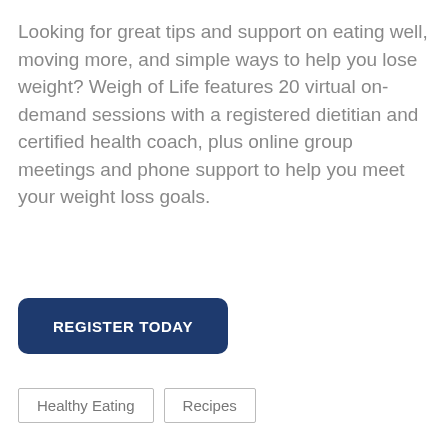Looking for great tips and support on eating well, moving more, and simple ways to help you lose weight? Weigh of Life features 20 virtual on-demand sessions with a registered dietitian and certified health coach, plus online group meetings and phone support to help you meet your weight loss goals.
REGISTER TODAY
Healthy Eating
Recipes